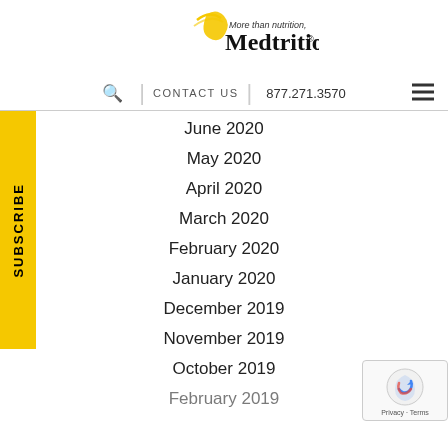[Figure (logo): Medtrition logo with tagline 'More than nutrition, Medtrition®' and a yellow swoosh figure]
🔍 | CONTACT US | 877.271.3570
June 2020
May 2020
April 2020
March 2020
February 2020
January 2020
December 2019
November 2019
October 2019
February 2019